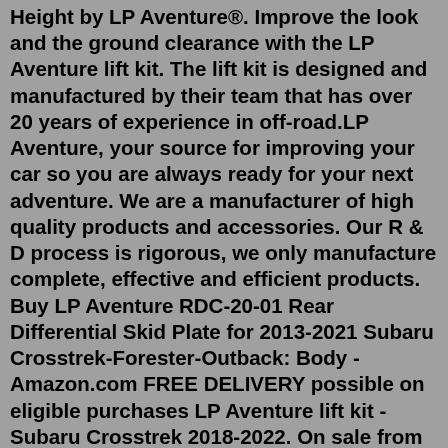Height by LP Aventure®. Improve the look and the ground clearance with the LP Aventure lift kit. The lift kit is designed and manufactured by their team that has over 20 years of experience in off-road.LP Aventure, your source for improving your car so you are always ready for your next adventure. We are a manufacturer of high quality products and accessories. Our R & D process is rigorous, we only manufacture complete, effective and efficient products. Buy LP Aventure RDC-20-01 Rear Differential Skid Plate for 2013-2021 Subaru Crosstrek-Forester-Outback: Body - Amazon.com FREE DELIVERY possible on eligible purchases LP Aventure lift kit - Subaru Crosstrek 2018-2022. On sale from $849 Sale View. LP Aventure jack spacer. Regular price $66 View -LP Aventure - Hood light brackets ... Subaru Crosstrek 2022, Premium Series Front Big Bumper Guard by LP Aventure®. They are proud to present the new LP Aventure bumper guard. This is the first bumper guard to be part of the new Premium Series. If you're looking for a...Shoreline